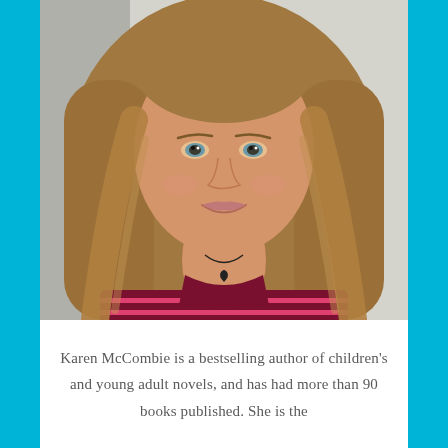[Figure (photo): Portrait photo of Karen McCombie, a woman with long wavy light brown hair and bangs, wearing a pink and dark red striped top with a black heart pendant necklace, smiling at the camera against a light background.]
Karen McCombie is a bestselling author of children's and young adult novels, and has had more than 90 books published. She is the